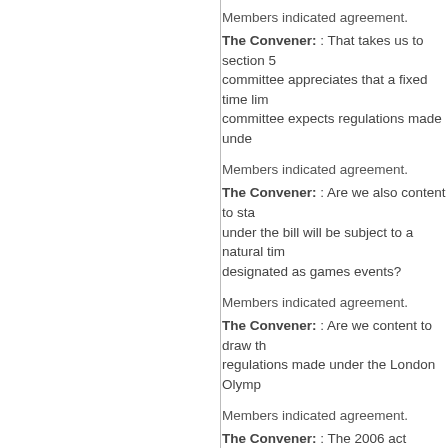Members indicated agreement.
The Convener: : That takes us to section 5— committee appreciates that a fixed time lim— committee expects regulations made unde—
Members indicated agreement.
The Convener: : Are we also content to sta— under the bill will be subject to a natural tim— designated as games events?
Members indicated agreement.
The Convener: : Are we content to draw th— regulations made under the London Olymp—
Members indicated agreement.
The Convener: : The 2006 act shows that— that would benefit the Scottish Governmen—
That concludes the committee's considerat—
Scottish Government Respon—
back to top